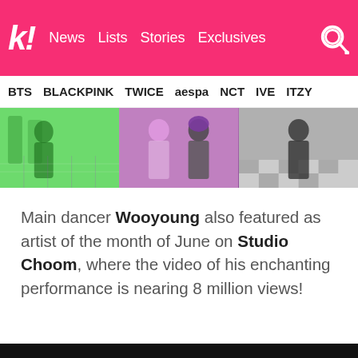k! News Lists Stories Exclusives
BTS BLACKPINK TWICE aespa NCT IVE ITZY
[Figure (photo): Three-panel image strip showing performers/dancers on stage with colorful backgrounds — green, purple, and grey/checkered]
Main dancer Wooyoung also featured as artist of the month of June on Studio Choom, where the video of his enchanting performance is nearing 8 million views!